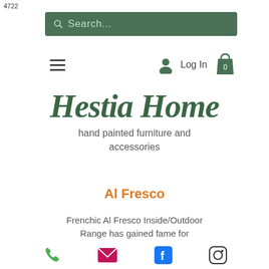4722
[Figure (screenshot): Green search bar with magnifying glass icon and placeholder text 'Search...']
[Figure (screenshot): Navigation bar with hamburger menu on left, and user/login/cart icons on right]
Hestia Home
hand painted furniture and accessories
Al Fresco
Frenchic Al Fresco Inside/Outdoor Range has gained fame for
[Figure (infographic): Footer social icons: phone (green), email (magenta), Facebook (blue), Instagram (black)]